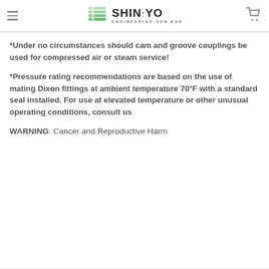SHIN·YO ENGINEERING SDN BHD
*Under no circumstances should cam and groove couplings be used for compressed air or steam service!
*Pressure rating recommendations are based on the use of mating Dixon fittings at ambient temperature 70°F with a standard seal installed. For use at elevated temperature or other unusual operating conditions, consult us
WARNING: Cancer and Reproductive Harm